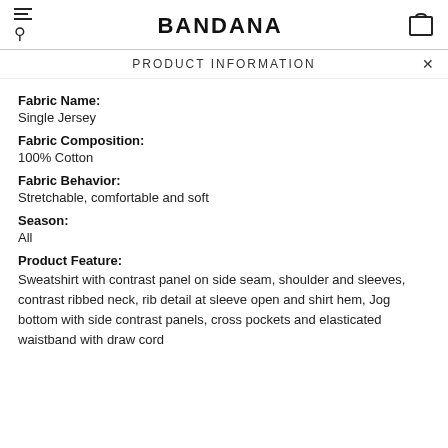BANDANA
PRODUCT INFORMATION
Fabric Name:
Single Jersey
Fabric Composition:
100% Cotton
Fabric Behavior:
Stretchable, comfortable and soft
Season:
All
Product Feature:
Sweatshirt with contrast panel on side seam, shoulder and sleeves, contrast ribbed neck, rib detail at sleeve open and shirt hem, Jog bottom with side contrast panels, cross pockets and elasticated waistband with draw cord